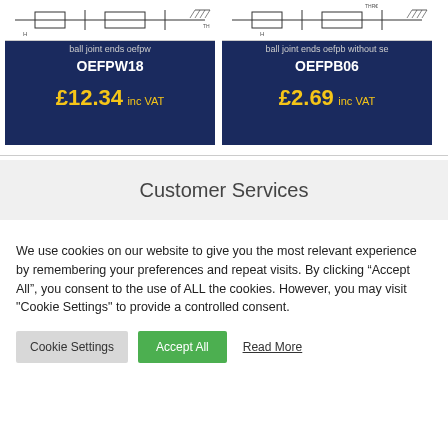[Figure (schematic): Technical engineering diagram of ball joint end OEFPW18]
ball joint ends oefpw
OEFPW18
£12.34 inc VAT
[Figure (schematic): Technical engineering diagram of ball joint end OEFPB06]
ball joint ends oefpb without se
OEFPB06
£2.69 inc VAT
Customer Services
We use cookies on our website to give you the most relevant experience by remembering your preferences and repeat visits. By clicking “Accept All”, you consent to the use of ALL the cookies. However, you may visit "Cookie Settings" to provide a controlled consent.
Cookie Settings   Accept All   Read More